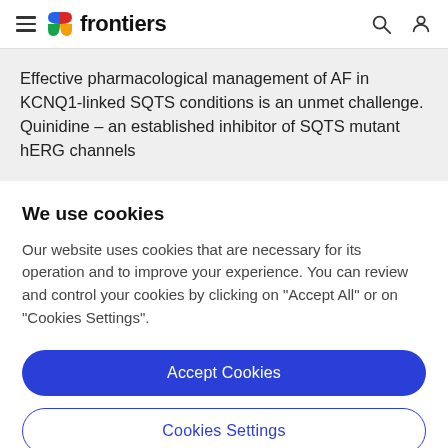frontiers
Effective pharmacological management of AF in KCNQ1-linked SQTS conditions is an unmet challenge. Quinidine – an established inhibitor of SQTS mutant hERG channels
We use cookies
Our website uses cookies that are necessary for its operation and to improve your experience. You can review and control your cookies by clicking on "Accept All" or on "Cookies Settings".
Accept Cookies
Cookies Settings